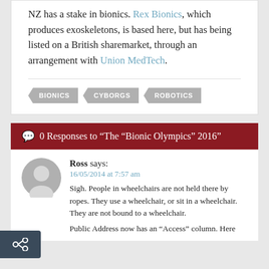NZ has a stake in bionics. Rex Bionics, which produces exoskeletons, is based here, but has being listed on a British sharemarket, through an arrangement with Union MedTech.
BIONICS
CYBORGS
ROBOTICS
0 Responses to “The “Bionic Olympics” 2016”
Ross says:
16/05/2014 at 7:57 am
Sigh. People in wheelchairs are not held there by ropes. They use a wheelchair, or sit in a wheelchair. They are not bound to a wheelchair.
Public Address now has an “Access” column. Here